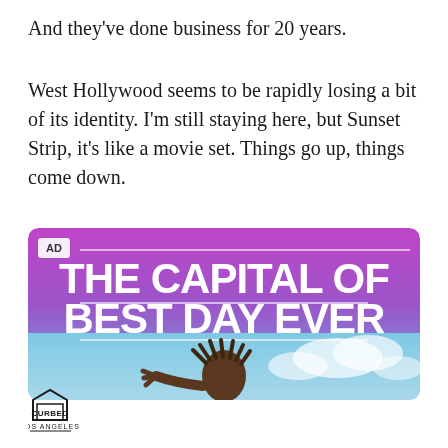And they've done business for 20 years.
West Hollywood seems to be rapidly losing a bit of its identity. I'm still staying here, but Sunset Strip, it's like a movie set. Things go up, things come down.
[Figure (photo): Advertisement banner with purple-to-blue gradient background, bold white text reading 'THE CAPITAL OF BEST DAY EVER' with horizontal lines, an 'AD' label badge in top left, and a partial photo of a person with dreadlocks jumping against a blue sky.]
[Figure (logo): Curbed Los Angeles logo — text CURBED inside a house/building outline shape, with LOS ANGELES below]